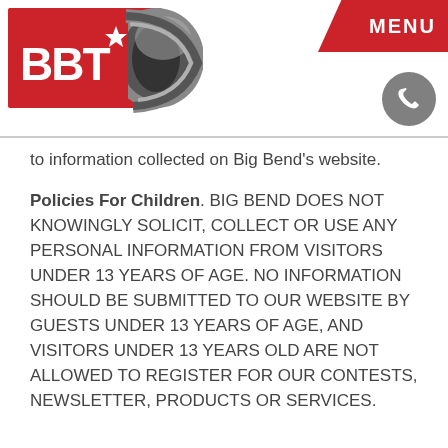[Figure (logo): BBT logo with red and silver design, star and swoosh graphic]
MENU
to information collected on Big Bend's website.
Policies For Children. BIG BEND DOES NOT KNOWINGLY SOLICIT, COLLECT OR USE ANY PERSONAL INFORMATION FROM VISITORS UNDER 13 YEARS OF AGE. NO INFORMATION SHOULD BE SUBMITTED TO OUR WEBSITE BY GUESTS UNDER 13 YEARS OF AGE, AND VISITORS UNDER 13 YEARS OLD ARE NOT ALLOWED TO REGISTER FOR OUR CONTESTS, NEWSLETTER, PRODUCTS OR SERVICES.